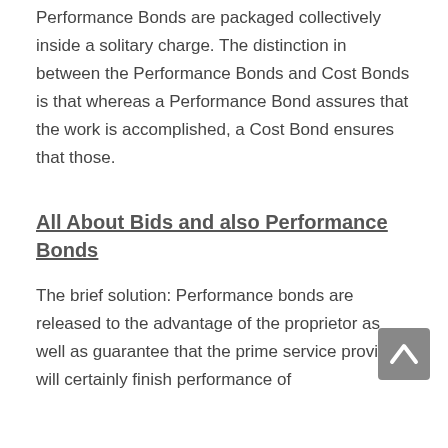Performance Bonds are packaged collectively inside a solitary charge. The distinction in between the Performance Bonds and Cost Bonds is that whereas a Performance Bond assures that the work is accomplished, a Cost Bond ensures that those.
All About Bids and also Performance Bonds
The brief solution: Performance bonds are released to the advantage of the proprietor as well as guarantee that the prime service provider will certainly finish performance of